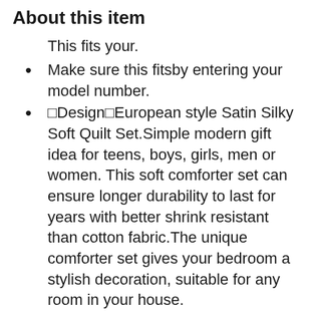About this item
This fits your.
Make sure this fitsby entering your model number.
🔹Design🔹European style Satin Silky Soft Quilt Set.Simple modern gift idea for teens, boys, girls, men or women. This soft comforter set can ensure longer durability to last for years with better shrink resistant than cotton fabric.The unique comforter set gives your bedroom a stylish decoration, suitable for any room in your house.
🔹Set🔹Full/Queen Size Information-Comforter size is 228cm*228cm(88"x88"),2XPillowcases sizes is 50x70cm(19.6"x28") 🔹Please allow 5cm/2" actual product error.
🔹Material🔹The comforter is Ultra-soft🔹soft microfiber, durable,fade-resistant and machine washable.Microfiber material is cool and